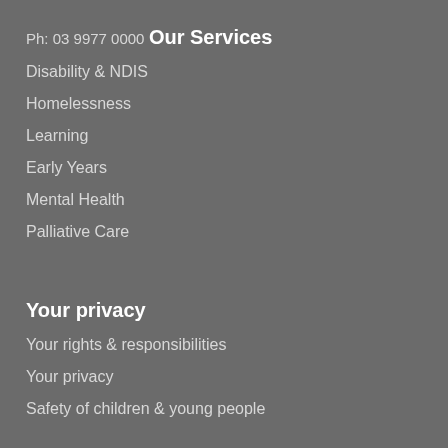Ph: 03 9977 0000
Our Services
Disability & NDIS
Homelessness
Learning
Early Years
Mental Health
Palliative Care
Your privacy
Your rights & responsibilities
Your privacy
Safety of children & young people